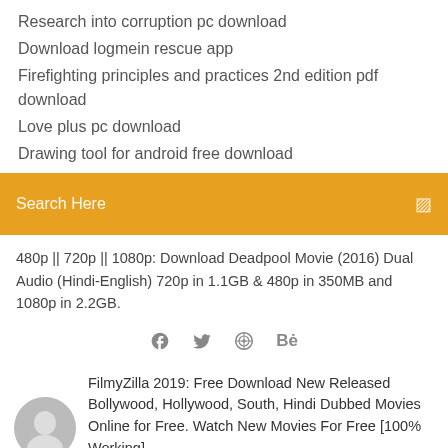Research into corruption pc download
Download logmein rescue app
Firefighting principles and practices 2nd edition pdf download
Love plus pc download
Drawing tool for android free download
Search Here
480p || 720p || 1080p: Download Deadpool Movie (2016) Dual Audio (Hindi-English) 720p in 1.1GB & 480p in 350MB and 1080p in 2.2GB.
[Figure (infographic): Social media icons: Facebook, Twitter, a wheel/target icon, and Behance logo]
FilmyZilla 2019: Free Download New Released Bollywood, Hollywood, South, Hindi Dubbed Movies Online for Free. Watch New Movies For Free [100% Working]